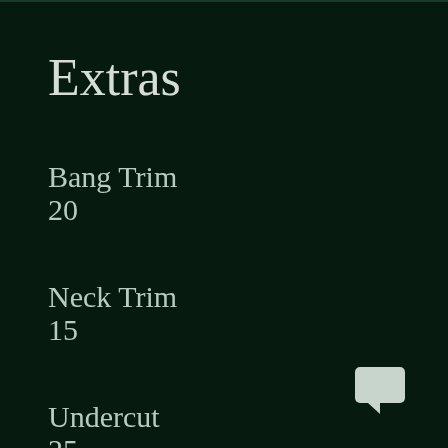Extras
Bang Trim
20
Neck Trim
15
Undercut
25
[Figure (illustration): Chat/comment bubble icon in light gray]